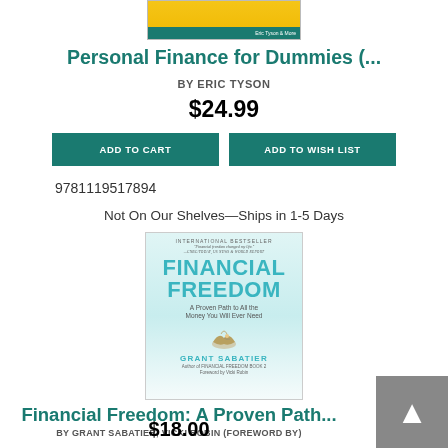[Figure (photo): Partial book cover of Personal Finance for Dummies, yellow cover, shown cropped at top]
Personal Finance for Dummies (...
BY ERIC TYSON
$24.99
ADD TO CART   ADD TO WISH LIST
9781119517894
Not On Our Shelves—Ships in 1-5 Days
[Figure (photo): Book cover of Financial Freedom: A Proven Path to All the Money You Will Ever Need by Grant Sabatier, Foreword by Vicki Robin. International bestseller. Light blue/white cover with bird illustration.]
Financial Freedom: A Proven Path...
BY GRANT SABATIER, VICKI ROBIN (FOREWORD BY)
$18.00